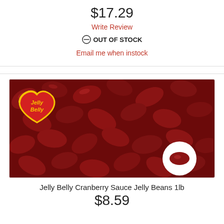$17.29
Write Review
OUT OF STOCK
Email me when instock
[Figure (photo): Close-up photo of dark red Jelly Belly Cranberry Sauce jelly beans filling the frame, with a Jelly Belly heart-shaped logo in the top-left corner and a circular Jelly Belly badge in the bottom-right corner.]
Jelly Belly Cranberry Sauce Jelly Beans 1lb
$8.59